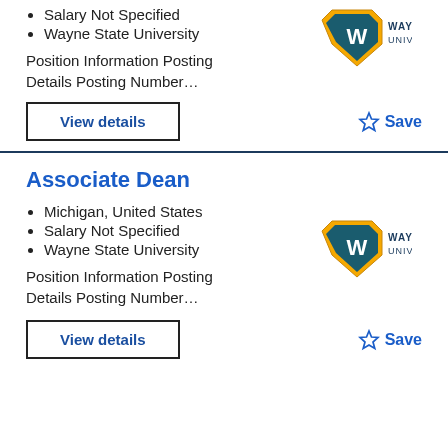Salary Not Specified
Wayne State University
[Figure (logo): Wayne State University logo - gold and teal shield with W]
Position Information Posting Details Posting Number…
View details
Save
Associate Dean
Michigan, United States
Salary Not Specified
Wayne State University
[Figure (logo): Wayne State University logo - gold and teal shield with W]
Position Information Posting Details Posting Number…
View details
Save